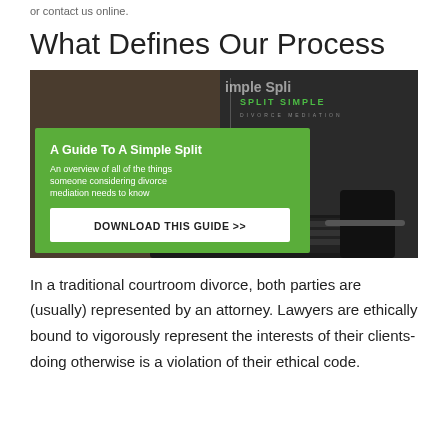or contact us online.
What Defines Our Process
[Figure (photo): Promotional image for 'A Guide To A Simple Split' — a laptop showing the Split Simple Divorce Mediation website, overlaid with a green box containing the title 'A Guide To A Simple Split', subtitle 'An overview of all of the things someone considering divorce mediation needs to know', and a white button 'DOWNLOAD THIS GUIDE >>']
In a traditional courtroom divorce, both parties are (usually) represented by an attorney. Lawyers are ethically bound to vigorously represent the interests of their clients- doing otherwise is a violation of their ethical code.